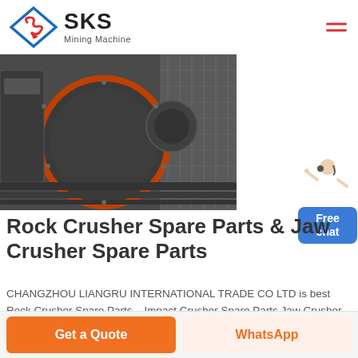SKS Mining Machine
[Figure (photo): Rock crusher / jaw crusher industrial machine photograph showing large industrial crushing equipment with cylindrical component, orange/red highlighted parts, and metal framework]
[Figure (illustration): Customer service representative figure (woman) next to a blue 'Free chat' button]
Rock Crusher Spare Parts & Jaw Crusher Spare Parts
CHANGZHOU LIANGRU INTERNATIONAL TRADE CO LTD is best Rock Crusher Spare Parts, , Impact Crusher Spare Parts Jaw Crusher , Stone Ore Spring Cone Crusher.
Get a Quote
WhatsApp